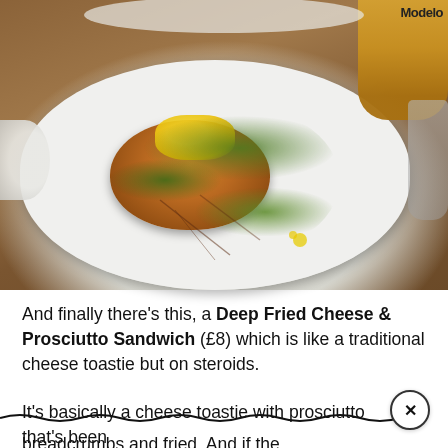[Figure (photo): A Deep Fried Cheese & Prosciutto Sandwich served on a white plate with green salad/microgreens and yellow cheese visible on top of the fried croquette-style sandwich, on a wooden table. A Modelo beer bottle is visible in the top right corner.]
And finally there's this, a Deep Fried Cheese & Prosciutto Sandwich (£8) which is like a traditional cheese toastie but on steroids.
It's basically a cheese toastie with prosciutto that's been [coated in] breadcrumbs and fried. And if the[...]